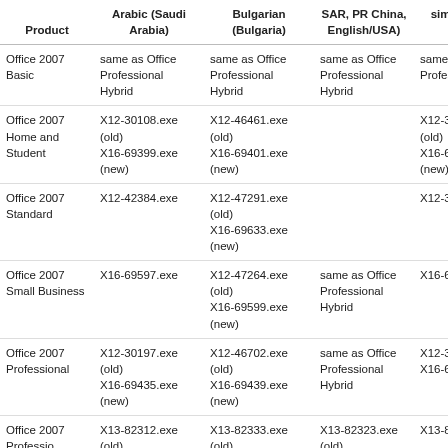| Product | Arabic (Saudi Arabia) | Bulgarian (Bulgaria) | SAR, PR China, English/USA | simplified (PR China) |
| --- | --- | --- | --- | --- |
| Office 2007 Basic | same as Office Professional Hybrid | same as Office Professional Hybrid | same as Office Professional Hybrid | same as Office Professional Hybrid |
| Office 2007 Home and Student | X12-30108.exe (old)
X16-69399.exe (new) | X12-46461.exe (old)
X16-69401.exe (new) |  | X12-30108.exe (old)
X16-69401.exe (new) |
| Office 2007 Standard | X12-42384.exe | X12-47291.exe (old)
X16-69633.exe (new) |  | X12-30268.exe |
| Office 2007 Small Business | X16-69597.exe | X12-47264.exe (old)
X16-69599.exe (new) | same as Office Professional Hybrid | X16-69601.exe |
| Office 2007 Professional | X12-30197.exe (old)
X16-69435.exe (new) | X12-46702.exe (old)
X16-69439.exe (new) | same as Office Professional Hybrid | X12-30197.exe (old)
X16-69444.exe (new) |
| Office 2007 Professional | X13-82312.exe (old) | X13-82333.exe (old) | X13-82323.exe (old) | X13-82323.exe (old) |